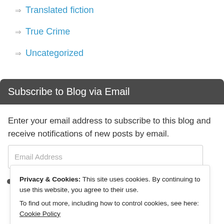Translated fiction
True Crime
Uncategorized
Subscribe to Blog via Email
Enter your email address to subscribe to this blog and receive notifications of new posts by email.
Privacy & Cookies: This site uses cookies. By continuing to use this website, you agree to their use.
To find out more, including how to control cookies, see here: Cookie Policy
Close and accept